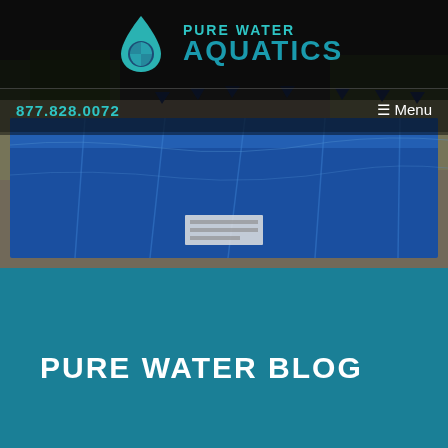[Figure (photo): Swimming pool covered with a blue solar cover/tarp, viewed from above at an angle. Dark trees and lane markers visible in background. Dark overlay applied to top portion.]
PURE WATER AQUATICS
877.828.0072
≡ Menu
PURE WATER BLOG